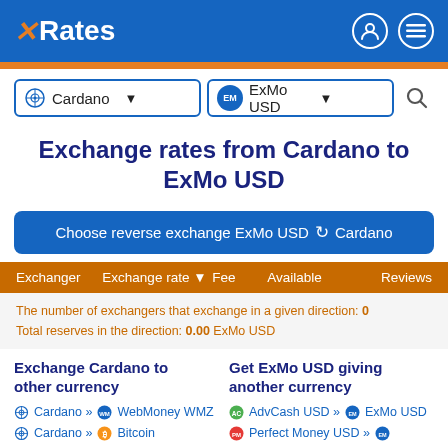X Rates
[Figure (screenshot): Currency search interface with two dropdowns: Cardano and ExMo USD, and a search icon]
Exchange rates from Cardano to ExMo USD
Choose reverse exchange ExMo USD ↺ Cardano
| Exchanger | Exchange rate ▼ | Fee | Available | Reviews |
| --- | --- | --- | --- | --- |
The number of exchangers that exchange in a given direction: 0
Total reserves in the direction: 0.00 ExMo USD
Exchange Cardano to other currency
Cardano » WebMoney WMZ
Cardano » Bitcoin
Get ExMo USD giving another currency
AdvCash USD » ExMo USD
Perfect Money USD »